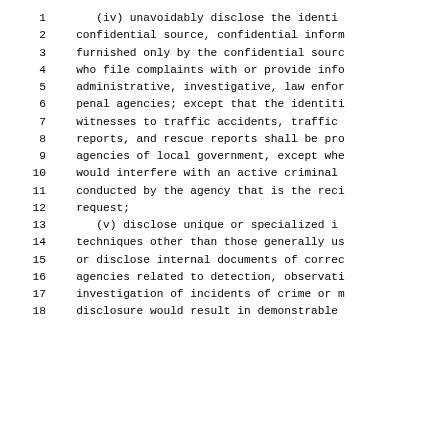1    (iv) unavoidably disclose the identi
2    confidential source, confidential inform
3    furnished only by the confidential sourc
4    who file complaints with or provide info
5    administrative, investigative, law enfor
6    penal agencies; except that the identiti
7    witnesses to traffic accidents, traffic
8    reports, and rescue reports shall be pro
9    agencies of local government, except whe
10   would interfere with an active criminal
11   conducted by the agency that is the reci
12   request;
13   (v) disclose unique or specialized i
14   techniques other than those generally us
15   or disclose internal documents of correc
16   agencies related to detection, observati
17   investigation of incidents of crime or m
18   disclosure would result in demonstrable